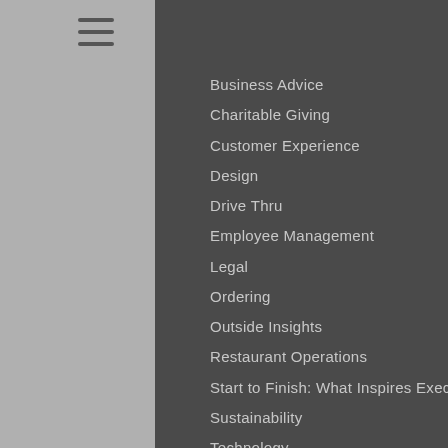[Figure (other): Hamburger menu icon (three horizontal lines)]
Business Advice
Charitable Giving
Customer Experience
Design
Drive Thru
Employee Management
Legal
Ordering
Outside Insights
Restaurant Operations
Start to Finish: What Inspires Execs
Sustainability
Technology
GROWTH
Consumer Trends
Emerging Concepts
Fast Casual